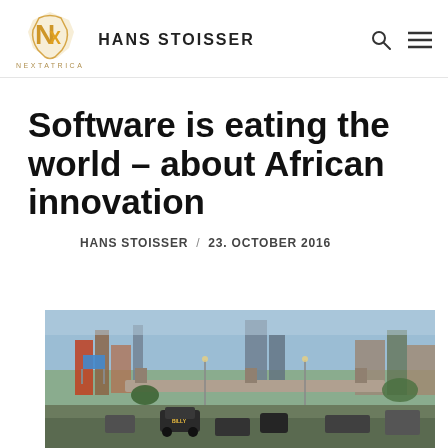HANS STOISSER
Software is eating the world – about African innovation
HANS STOISSER / 23. OCTOBER 2016
[Figure (photo): Street scene in an African city showing busy traffic, flyover/overpass, billboards, and city skyline under a blue sky]